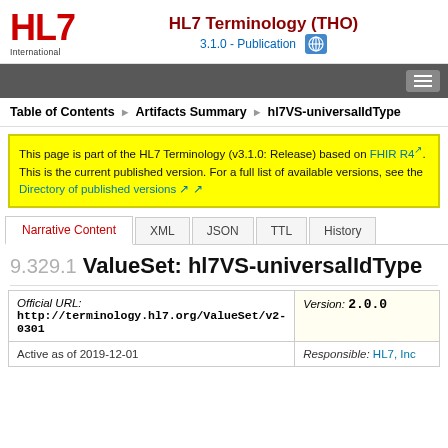HL7 Terminology (THO) 3.1.0 - Publication
Table of Contents > Artifacts Summary > hl7VS-universalIdType
This page is part of the HL7 Terminology (v3.1.0: Release) based on FHIR R4. This is the current published version. For a full list of available versions, see the Directory of published versions
Narrative Content | XML | JSON | TTL | History
9.329.1 ValueSet: hl7VS-universalIdType
| Official URL | Version |
| --- | --- |
| http://terminology.hl7.org/ValueSet/v2-0301 | 2.0.0 |
| Active as of 2019-12-01 | Responsible: HL7, Inc | Computable Name: Hl7VSUniversalIdType |